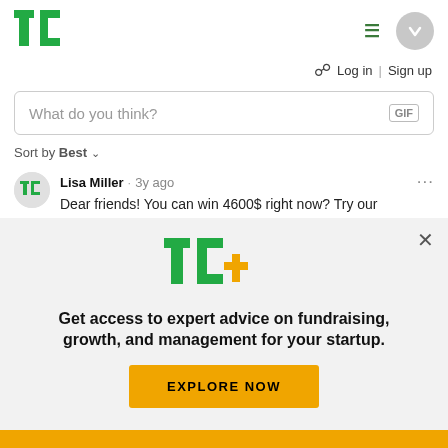[Figure (logo): TechCrunch TC green logo in top left header]
≡
✓
🔔  Log in | Sign up
What do you think?  GIF
Sort by Best ˅
Lisa Miller · 3y ago
Dear friends! You can win 4600$ right now? Try our
[Figure (logo): TC+ logo with green TC and yellow plus sign]
Get access to expert advice on fundraising, growth, and management for your startup.
EXPLORE NOW